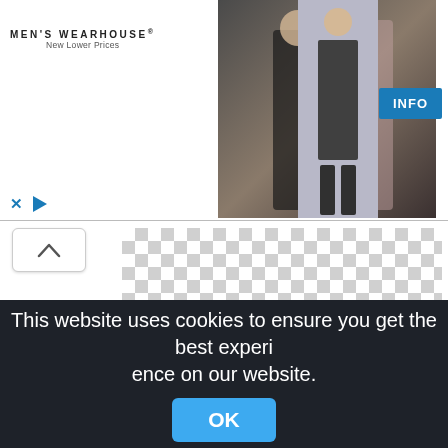[Figure (screenshot): Men's Wearhouse advertisement banner with logo, couple in formal wear, figure mannequin, and INFO button]
[Figure (screenshot): Checkerboard transparent background area showing a product image placeholder]
Birthday Sheep Greeting Card, Sheep Greeting Card,index
This website uses cookies to ensure you get the best experience on our website.
OK